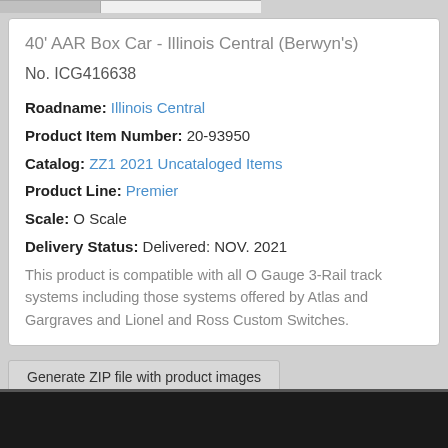40' AAR Box Car - Illinois Central (Berwyn's)
No. ICG416638
Roadname: Illinois Central
Product Item Number: 20-93950
Catalog: ZZ1 2021 Uncataloged Items
Product Line: Premier
Scale: O Scale
Delivery Status: Delivered: NOV. 2021
This product is compatible with all O Gauge 3-Rail track systems including those systems offered by Atlas and Gargraves and Lionel and Ross Custom Switches.
Generate ZIP file with product images